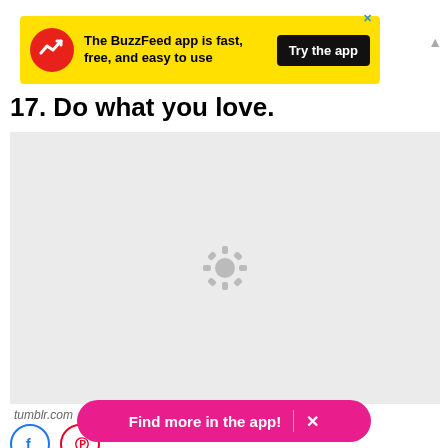[Figure (screenshot): BuzzFeed app advertisement banner in yellow with red logo, text 'The BuzzFeed app is fast, free, and easy to use', and a black 'Try the app' button]
17. Do what you love.
[Figure (photo): Gray placeholder image with loading spinner icon in center, sourced from tumblr.com]
tumblr.com
[Figure (other): Facebook and Pinterest social sharing icon buttons]
Find more in the app!